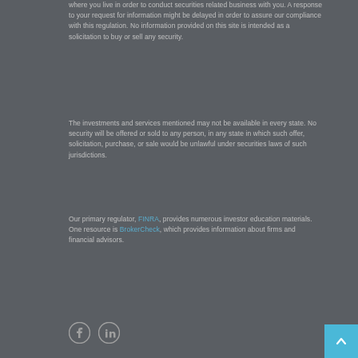where you live in order to conduct securities related business with you. A response to your request for information might be delayed in order to assure our compliance with this regulation. No information provided on this site is intended as a solicitation to buy or sell any security.
The investments and services mentioned may not be available in every state. No security will be offered or sold to any person, in any state in which such offer, solicitation, purchase, or sale would be unlawful under securities laws of such jurisdictions.
Our primary regulator, FINRA, provides numerous investor education materials. One resource is BrokerCheck, which provides information about firms and financial advisors.
[Figure (other): Social media icons: Facebook and LinkedIn circles at bottom left; blue scroll-to-top button at bottom right]